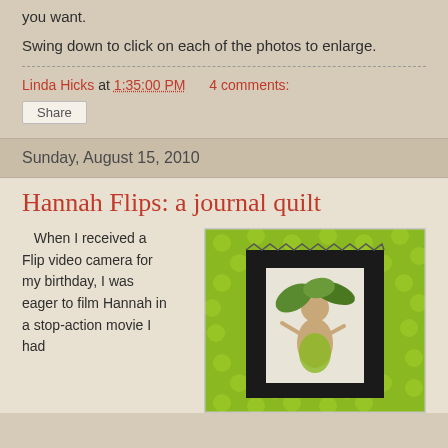you want.
Swing down to click on each of the photos to enlarge.
Linda Hicks at 1:35:00 PM   4 comments:
Share
Sunday, August 15, 2010
Hannah Flips: a journal quilt
When I received a Flip video camera for my birthday, I was eager to film Hannah in a stop-action movie I had
[Figure (photo): A small journal quilt featuring a fairy/flower fairy image centered on a black fabric square, surrounded by bright green polka-dot fabric with zigzag stitching border.]